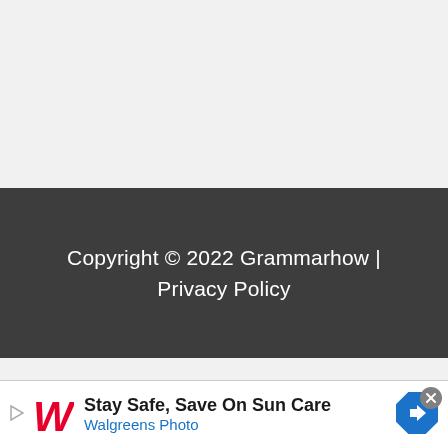Copyright © 2022 Grammarhow | Privacy Policy
[Figure (infographic): Walgreens advertisement banner: Play arrow icon, Walgreens W logo in red cursive, headline 'Stay Safe, Save On Sun Care', subtext 'Walgreens Photo' in blue, blue diamond navigation icon on right, grey X close button top-right]